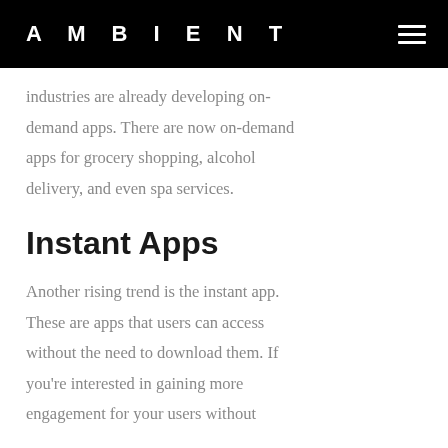AMBIENT
industries are already developing on-demand apps. There are now on-demand apps for grocery shopping, alcohol delivery, and even spa services.
Instant Apps
Another rising trend is the instant app. These are apps that users can access without the need to download them. If you're interested in gaining more engagement for your users without